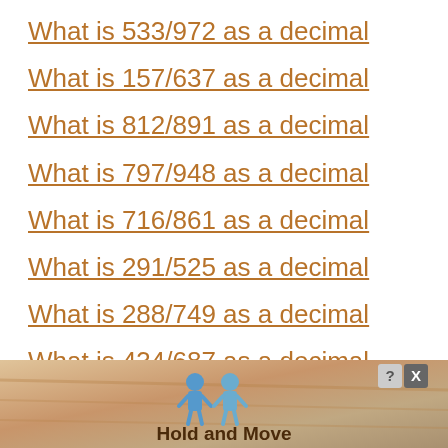What is 533/972 as a decimal
What is 157/637 as a decimal
What is 812/891 as a decimal
What is 797/948 as a decimal
What is 716/861 as a decimal
What is 291/525 as a decimal
What is 288/749 as a decimal
What is 434/687 as a decimal
Wha...
[Figure (infographic): Advertisement overlay with blue cartoon figures and text 'Hold and Move', with close buttons (? and X) in top right corner]